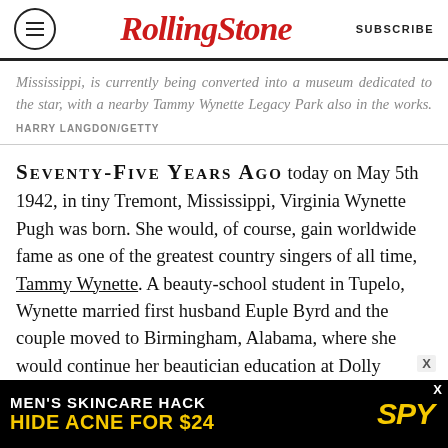RollingStone | SUBSCRIBE
Mississippi, is currently being converted into a museum dedicated to the star, with a nearby Tammy Wynette Legacy Park also in the works. HARRY LANGDON/GETTY
SEVENTY-FIVE YEARS AGO today on May 5th 1942, in tiny Tremont, Mississippi, Virginia Wynette Pugh was born. She would, of course, gain worldwide fame as one of the greatest country singers of all time, Tammy Wynette. A beauty-school student in Tupelo, Wynette married first husband Euple Byrd and the couple moved to Birmingham, Alabama, where she would continue her beautician education at Dolly Pardon's American Beauty College, its name humorously
[Figure (other): Advertisement banner: MEN'S SKINCARE HACK / HIDE ACNE FOR $24 / SPY logo]